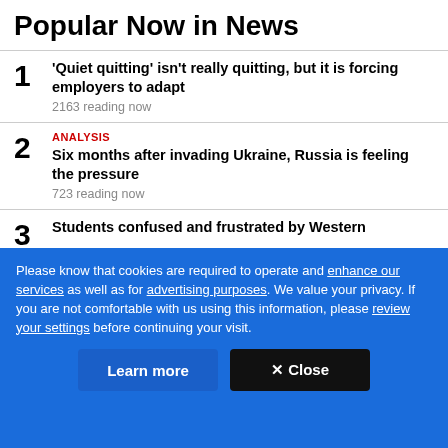Popular Now in News
1. 'Quiet quitting' isn't really quitting, but it is forcing employers to adapt — 2163 reading now
2. ANALYSIS — Six months after invading Ukraine, Russia is feeling the pressure — 723 reading now
3. Students confused and frustrated by Western
Please know that cookies are required to operate and enhance our services as well as for advertising purposes. We value your privacy. If you are not comfortable with us using this information, please review your settings before continuing your visit.